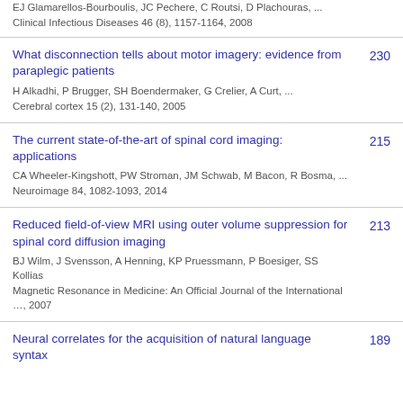EJ Glamarellos-Bourboulis, JC Pechere, C Routsi, D Plachouras, ...
Clinical Infectious Diseases 46 (8), 1157-1164, 2008
What disconnection tells about motor imagery: evidence from paraplegic patients
H Alkadhi, P Brugger, SH Boendermaker, G Crelier, A Curt, ...
Cerebral cortex 15 (2), 131-140, 2005
230
The current state-of-the-art of spinal cord imaging: applications
CA Wheeler-Kingshott, PW Stroman, JM Schwab, M Bacon, R Bosma, ...
Neuroimage 84, 1082-1093, 2014
215
Reduced field-of-view MRI using outer volume suppression for spinal cord diffusion imaging
BJ Wilm, J Svensson, A Henning, KP Pruessmann, P Boesiger, SS Kollias
Magnetic Resonance in Medicine: An Official Journal of the International …, 2007
213
Neural correlates for the acquisition of natural language syntax
189